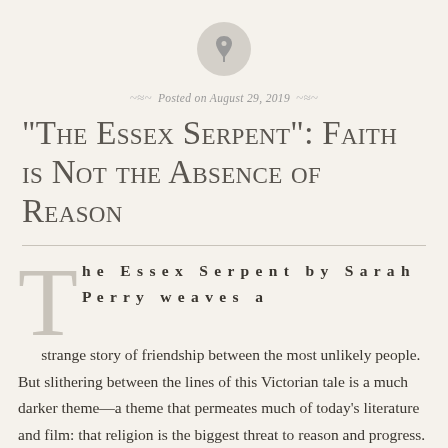[Figure (illustration): A circular grey pin/bookmark icon centered at the top of the page]
Posted on August 29, 2019
“The Essex Serpent”: Faith is Not the Absence of Reason
The Essex Serpent by Sarah Perry weaves a strange story of friendship between the most unlikely people. But slithering between the lines of this Victorian tale is a much darker theme—a theme that permeates much of today’s literature and film: that religion is the biggest threat to reason and progress. Set in London, 1893, The Essex